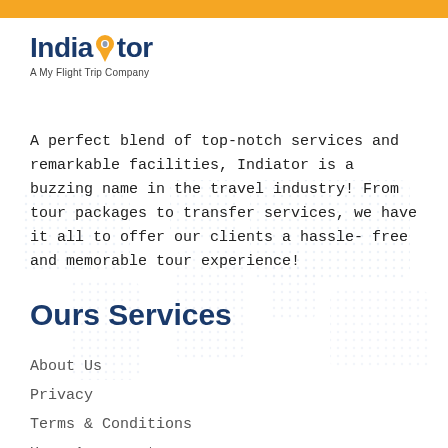[Figure (logo): Indiator logo with location pin icon and subtitle 'A My Flight Trip Company']
A perfect blend of top-notch services and remarkable facilities, Indiator is a buzzing name in the travel industry! From tour packages to transfer services, we have it all to offer our clients a hassle-free and memorable tour experience!
Ours Services
About Us
Privacy
Terms & Conditions
User Agreement